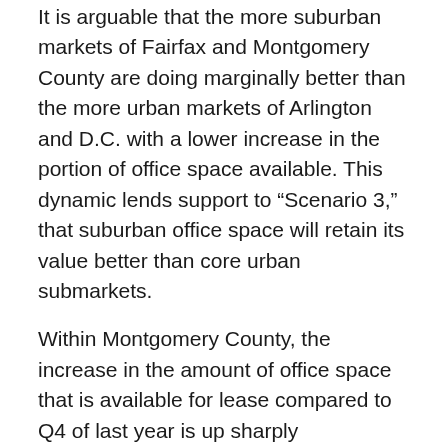It is arguable that the more suburban markets of Fairfax and Montgomery County are doing marginally better than the more urban markets of Arlington and D.C. with a lower increase in the portion of office space available. This dynamic lends support to “Scenario 3,” that suburban office space will retain its value better than core urban submarkets.
Within Montgomery County, the increase in the amount of office space that is available for lease compared to Q4 of last year is up sharply everywhere except in Silver Spring and Germantown. Unfortunately, this is not due to the strength of those two markets as Silver Spring is seeing a modest recovery from the recent loss of media company Discovery and Germantown already had a strikingly high vacancy rate. Grouping markets into similar typologies – urban (Bethesda, Silver Spring), urban/suburban (North Bethesda/Rockville), suburban (North Rockville, Gaithersburg, Germantown, North